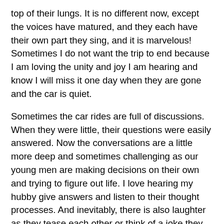top of their lungs. It is no different now, except the voices have matured, and they each have their own part they sing, and it is marvelous! Sometimes I do not want the trip to end because I am loving the unity and joy I am hearing and know I will miss it one day when they are gone and the car is quiet.
Sometimes the car rides are full of discussions. When they were little, their questions were easily answered. Now the conversations are a little more deep and sometimes challenging as our young men are making decisions on their own and trying to figure out life. I love hearing my hubby give answers and listen to their thought processes. And inevitably, there is also laughter as they tease each other or think of a joke they just heard! Car rides are so much fun!
As you can tell, the Grays love to have fun in any location and in any situation. We also do not have to spend a lot of money in order to enjoy being together. I am grateful for